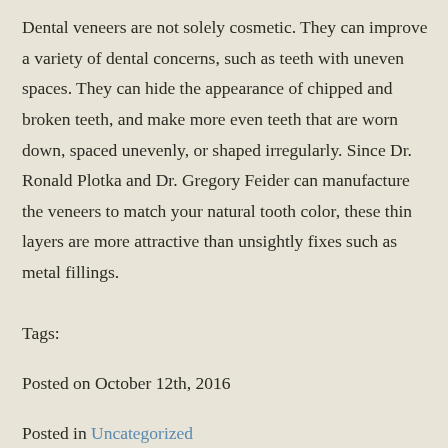Dental veneers are not solely cosmetic. They can improve a variety of dental concerns, such as teeth with uneven spaces. They can hide the appearance of chipped and broken teeth, and make more even teeth that are worn down, spaced unevenly, or shaped irregularly. Since Dr. Ronald Plotka and Dr. Gregory Feider can manufacture the veneers to match your natural tooth color, these thin layers are more attractive than unsightly fixes such as metal fillings.
Tags:
Posted on October 12th, 2016
Posted in Uncategorized